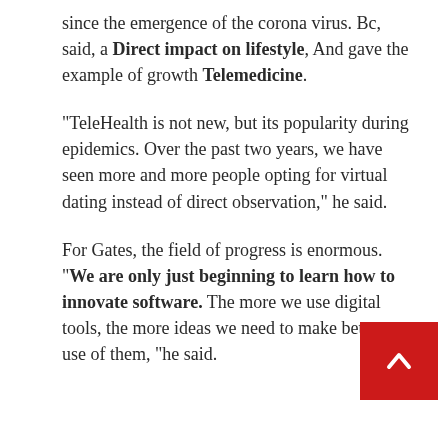since the emergence of the corona virus. Bc, said, a Direct impact on lifestyle, And gave the example of growth Telemedicine.
“TeleHealth is not new, but its popularity during epidemics. Over the past two years, we have seen more and more people opting for virtual dating instead of direct observation,” he said.
For Gates, the field of progress is enormous. “We are only just beginning to learn how to innovate software. The more we use digital tools, the more ideas we need to make better use of them, “he said.